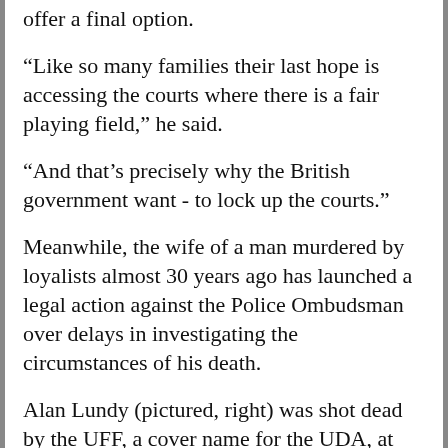offer a final option.
“Like so many families their last hope is accessing the courts where there is a fair playing field,” he said.
“And that’s precisely why the British government want - to lock up the courts.”
Meanwhile, the wife of a man murdered by loyalists almost 30 years ago has launched a legal action against the Police Ombudsman over delays in investigating the circumstances of his death.
Alan Lundy (pictured, right) was shot dead by the UFF, a cover name for the UDA, at the home of Sinn Féin assembly member Alex Maskey in west Belfast in